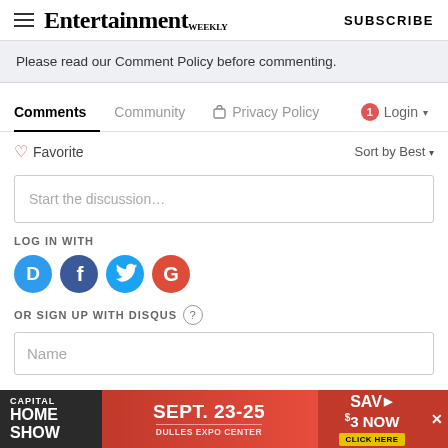Entertainment Weekly — SUBSCRIBE
Please read our Comment Policy before commenting.
Comments   Community   Privacy Policy   Login
Favorite   Sort by Best
Start the discussion…
LOG IN WITH
[Figure (infographic): Social login icons: Disqus (D), Facebook (f), Twitter bird, Google (G) in colored circles]
OR SIGN UP WITH DISQUS ?
Name
[Figure (infographic): Advertisement banner: Capital Home Show, Sept. 23-25, Dulles Expo Center, Save $3 Now, Click Here]